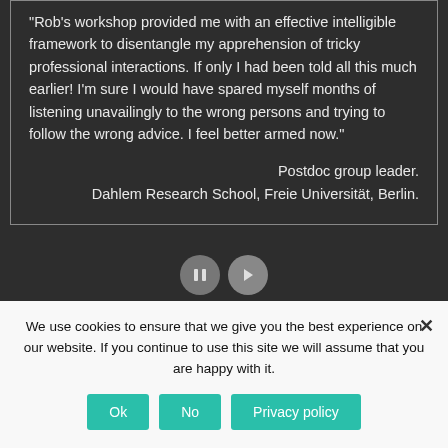“Rob’s workshop provided me with an effective intelligible framework to disentangle my apprehension of tricky professional interactions. If only I had been told all this much earlier! I’m sure I would have spared myself months of listening unavailingly to the wrong persons and trying to follow the wrong advice. I feel better armed now.”
Postdoc group leader. Dahlem Research School, Freie Universität, Berlin.
[Figure (other): Pause and next navigation buttons (circular icons) for a testimonial slideshow]
We use cookies to ensure that we give you the best experience on our website. If you continue to use this site we will assume that you are happy with it.